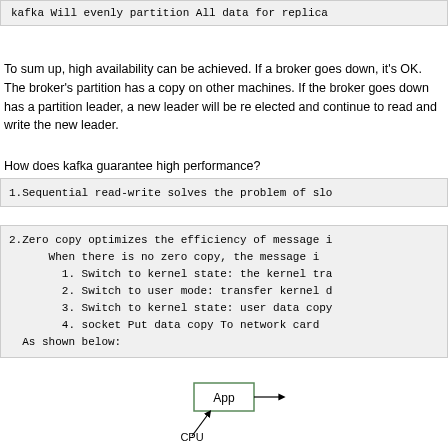kafka Will evenly partition All data for replica
To sum up, high availability can be achieved. If a broker goes down, it's OK. The broker's partition has a copy on other machines. If the broker goes down has a partition leader, a new leader will be re elected and continue to read and write the new leader.
How does kafka guarantee high performance?
1.Sequential read-write solves the problem of slo
2.Zero copy optimizes the efficiency of message i
   When there is no zero copy, the message i
   1. Switch to kernel state: the kernel tra
   2. Switch to user mode: transfer kernel d
   3. Switch to kernel state: user data copy
   4. socket Put data copy To network card
 As shown below:
[Figure (schematic): Diagram showing App box with CPU label below and arrows, illustrating zero copy / message transfer architecture]